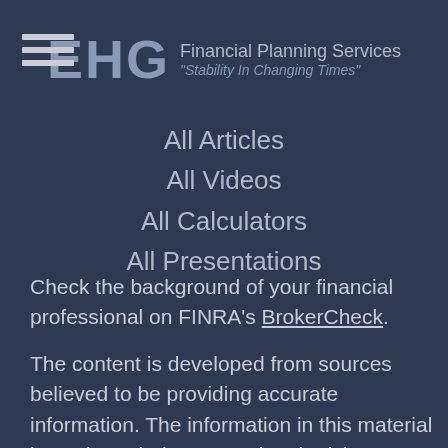EHG Financial Planning Services "Stability In Changing Times"
All Articles
All Videos
All Calculators
All Presentations
Check the background of your financial professional on FINRA's BrokerCheck.
The content is developed from sources believed to be providing accurate information. The information in this material is not intended as tax or legal advice. Please consult legal or tax professionals for specific information regarding your individual situation. Some of this material was developed and produced by FMG Suite to provide information on